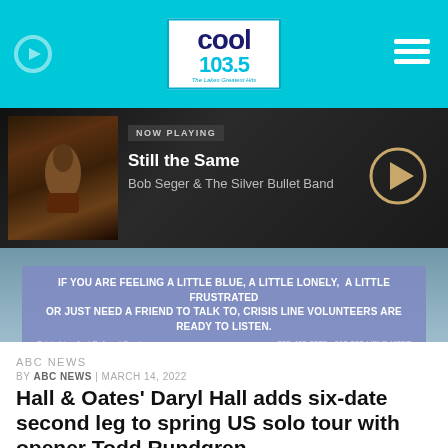[Figure (screenshot): Cool 103.5 radio station logo - white box with dark blue COOL text and cyan 103.5 text, tagline 'The Lakes Greatest Hits']
[Figure (screenshot): Now Playing bar showing Bob Seger album art thumbnail, NOW PLAYING label, song 'Still the Same' by Bob Seger & The Silver Bullet Band, and a gold play button circle]
[Figure (infographic): Crisis Line ad banner: 'IF YOU ARE FEELING A LITTLE BLUE, A LITTLE LONELY, A LITTLE FRUSTRATED OR JUST NEED A FRIEND TO TALK TO, CRISIS LINE VOLUNTEERS ARE READY TO LISTEN.' Crisis Line And Referral Service 800-462-5525 * 218-828-HELP (4357)]
ABC NEWS
BY ABC NEWS | MARCH 14, 2022
Hall & Oates' Daryl Hall adds six-date second leg to spring US solo tour with opener Todd Rundgren
SHARE: